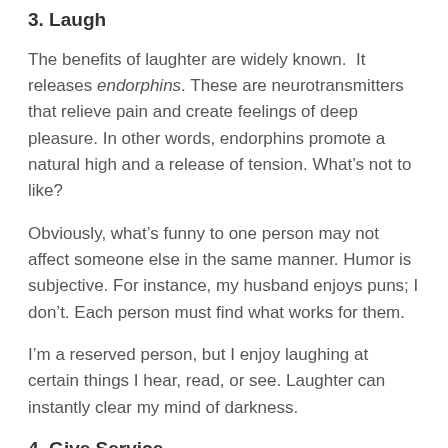3. Laugh
The benefits of laughter are widely known.  It releases endorphins. These are neurotransmitters that relieve pain and create feelings of deep pleasure. In other words, endorphins promote a natural high and a release of tension. What's not to like?
Obviously, what's funny to one person may not affect someone else in the same manner. Humor is subjective. For instance, my husband enjoys puns; I don't. Each person must find what works for them.
I'm a reserved person, but I enjoy laughing at certain things I hear, read, or see. Laughter can instantly clear my mind of darkness.
4. Give Service